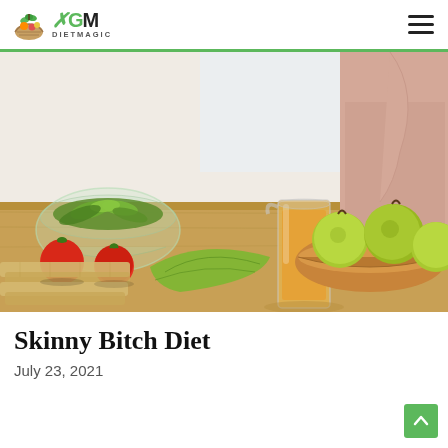GM Diet Magic
[Figure (photo): A woman standing behind a wooden kitchen table spread with fresh vegetables and fruits including tomatoes, green leafy herbs in a glass bowl, lettuce, green apples in a wooden bowl, and a glass pitcher of orange juice; the woman is wearing a beige sleeveless top and has braided hair.]
Skinny Bitch Diet
July 23, 2021